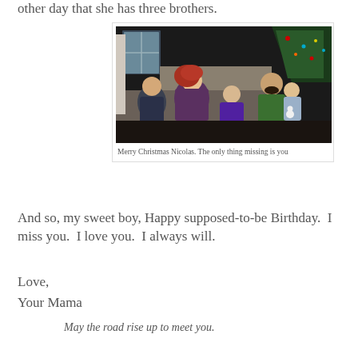other day that she has three brothers.
[Figure (photo): Family Christmas photo showing a woman with red hair, a man in a green sweater, a girl in a purple dress, and two young boys, seated in front of a decorated Christmas tree]
Merry Christmas Nicolas. The only thing missing is you
And so, my sweet boy, Happy supposed-to-be Birthday.  I miss you.  I love you.  I always will.
Love,
Your Mama
May the road rise up to meet you.